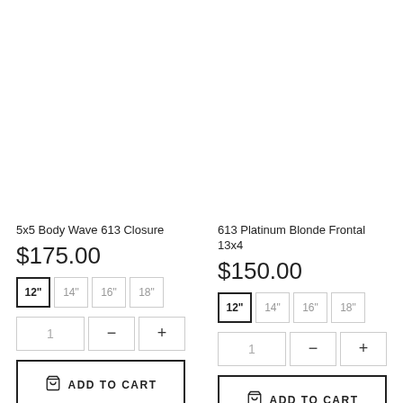5x5 Body Wave 613 Closure
$175.00
613 Platinum Blonde Frontal 13x4
$150.00